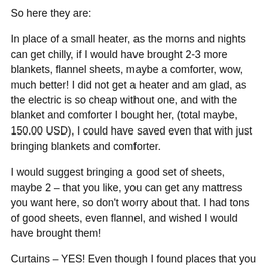So here they are:
In place of a small heater, as the morns and nights can get chilly, if I would have brought 2-3 more blankets, flannel sheets, maybe a comforter, wow, much better! I did not get a heater and am glad, as the electric is so cheap without one, and with the blanket and comforter I bought her, (total maybe, 150.00 USD), I could have saved even that with just bringing blankets and comforter.
I would suggest bringing a good set of sheets, maybe 2 – that you like, you can get any mattress you want here, so don't worry about that. I had tons of good sheets, even flannel, and wished I would have brought them!
Curtains – YES! Even though I found places that you can get fabric for dirt cheap, it would have been MUCH easier to bring curtains, AND the rings instead of the curtain rod